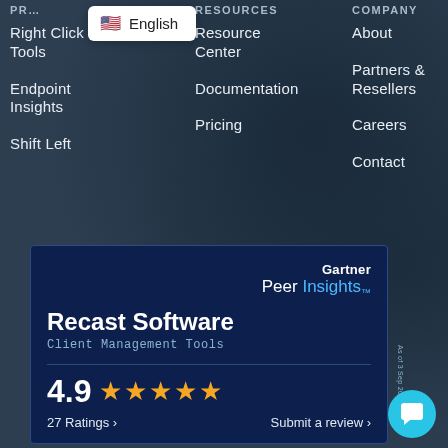[Figure (screenshot): Website navigation dropdown menu showing Products, Resources, and Company columns on a dark navy background with hexagon pattern. An English language selector dropdown is visible. A Gartner Peer Insights badge for Recast Software is shown at the bottom with 4.9 rating and 27 Ratings.]
Right Click Tools
Endpoint Insights
Shift Left
Resource Center
Documentation
Pricing
About
Partners & Resellers
Careers
Contact
Gartner Peer Insights™
Recast Software
Client Management Tools
4.9 ★★★★★
27 Ratings >
Submit a review >
As of 3 Sep 2022